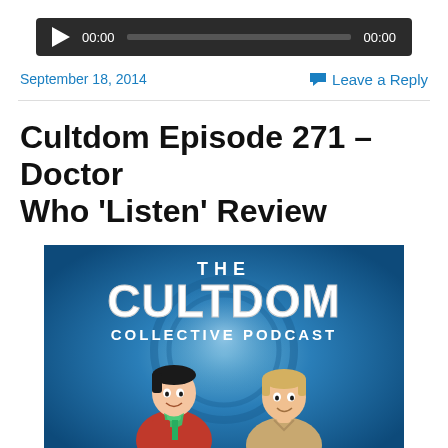[Figure (screenshot): Audio player bar with dark background, play button, timestamp 00:00, progress bar, and end time 00:00]
September 18, 2014
Leave a Reply
Cultdom Episode 271 – Doctor Who 'Listen' Review
[Figure (illustration): The Cultdom Collective Podcast logo with two cartoon characters on a blue swirling background]